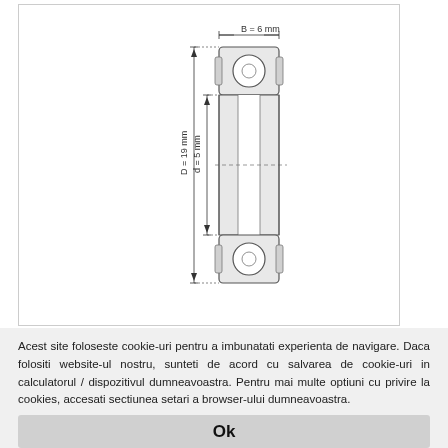[Figure (engineering-diagram): Technical drawing of a ball bearing shown in cross-section side view. The bearing has outer diameter D = 19 mm, inner diameter d = 5 mm, and width B = 6 mm. The drawing shows two ball races (top and bottom) with circular balls visible, connected by the outer and inner rings. Dimension lines indicate D = 19 mm (full height), d = 5 mm (inner ring height), and B = 6 mm (width at top).]
Acest site foloseste cookie-uri pentru a imbunatati experienta de navigare. Daca folositi website-ul nostru, sunteti de acord cu salvarea de cookie-uri in calculatorul / dispozitivul dumneavoastra. Pentru mai multe optiuni cu privire la cookies, accesati sectiunea setari a browser-ului dumneavoastra.